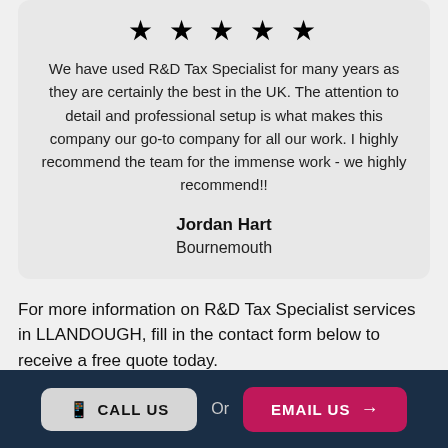[Figure (other): Five gold/yellow star rating icons in a row]
We have used R&D Tax Specialist for many years as they are certainly the best in the UK. The attention to detail and professional setup is what makes this company our go-to company for all our work. I highly recommend the team for the immense work - we highly recommend!!
Jordan Hart
Bournemouth
For more information on R&D Tax Specialist services in LLANDOUGH, fill in the contact form below to receive a free quote today.
CALL US   Or   EMAIL US →